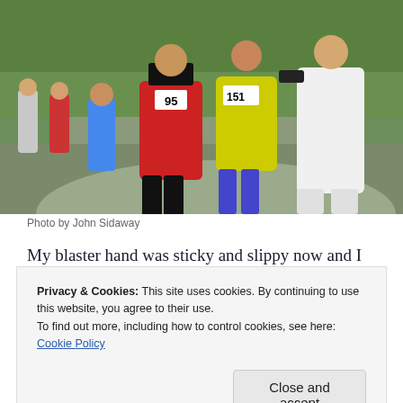[Figure (photo): Group of runners in a park race, wearing numbered bibs (95, 151), one runner dressed in a white costume, green trees in background]
Photo by John Sidaway
My blaster hand was sticky and slippy now and I was seriously considering ditching it. However my son had had his eye on it so I tried passing it from hand to hand just for a change.
Privacy & Cookies: This site uses cookies. By continuing to use this website, you agree to their use.
To find out more, including how to control cookies, see here: Cookie Policy
later having waited back at the car and